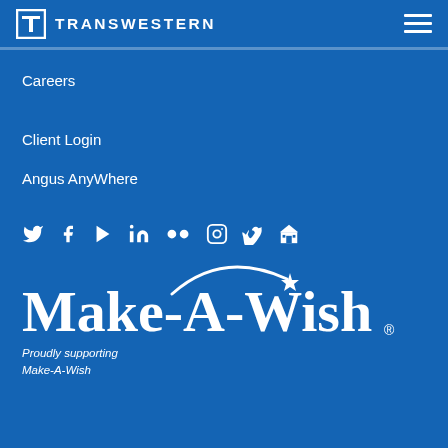TRANSWESTERN
Careers
Client Login
Angus AnyWhere
[Figure (illustration): Social media icons row: Twitter, Facebook, YouTube/Play, LinkedIn, Flickr, Instagram, Vimeo, Building/GovDelivery]
[Figure (logo): Make-A-Wish logo with arc and star in white on blue background]
Proudly supporting Make-A-Wish